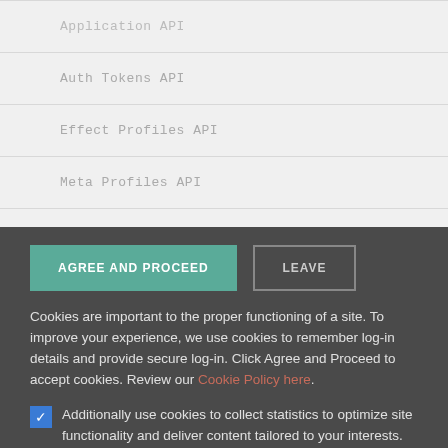Application API
Auth Tokens API
Effect Profiles API
Meta Profiles API
AGREE AND PROCEED | LEAVE
Cookies are important to the proper functioning of a site. To improve your experience, we use cookies to remember log-in details and provide secure log-in. Click Agree and Proceed to accept cookies. Review our Cookie Policy here.
Additionally use cookies to collect statistics to optimize site functionality and deliver content tailored to your interests.